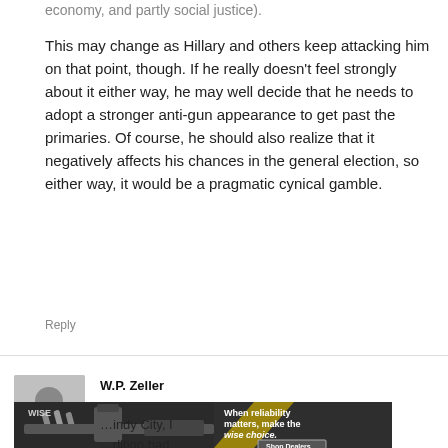economy, and partly social justice). This may change as Hillary and others keep attacking him on that point, though. If he really doesn't feel strongly about it either way, he may well decide that he needs to adopt a stronger anti-gun appearance to get past the primaries. Of course, he should also realize that it negatively affects his chances in the general election, so either way, it would be a pragmatic cynical gamble.
Reply
W.P. Zeller
[Figure (photo): Advertisement for WISE brand showing a firearm/rifle with ammunition. Text reads: 'When reliability matters, make the wise choice.' with a 'Shop Dealers' button.]
indy City, I dition had e anti-gun